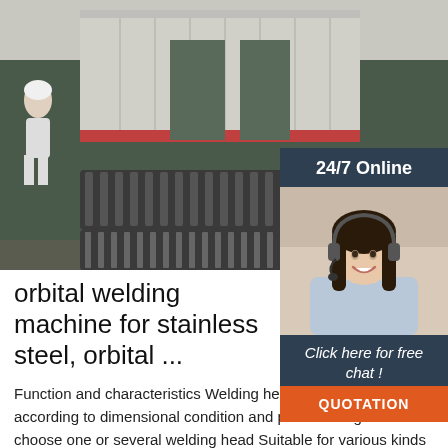[Figure (photo): Industrial factory interior showing conveyor or roller assembly lines with shipping containers in the background, workers visible on the left.]
[Figure (infographic): 24/7 Online chat widget showing a customer service representative with headset, a 'Click here for free chat!' message, and a QUOTATION button.]
orbital welding machine for stainless steel, orbital ...
Function and characteristics Welding head five specifications, according to dimensional condition and product range can choose one or several welding head Suitable for various kinds of pipe-pipe joint and various groove form ; Wire unit according to working environment different, can adopt built-in wire or external wire; Welding head